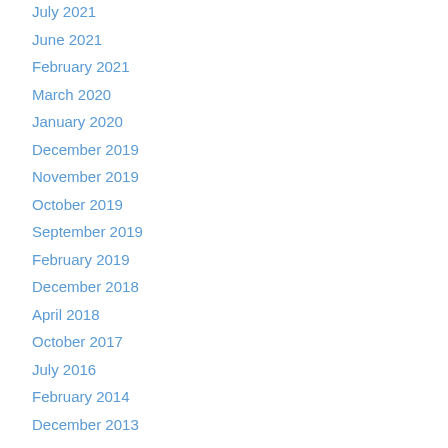July 2021
June 2021
February 2021
March 2020
January 2020
December 2019
November 2019
October 2019
September 2019
February 2019
December 2018
April 2018
October 2017
July 2016
February 2014
December 2013